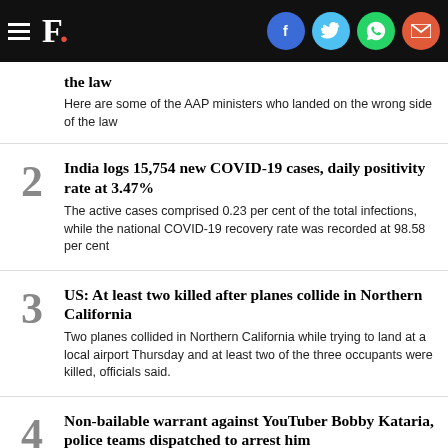F. [Firstpost logo with social share icons: Facebook, Twitter, WhatsApp, Email]
the law
Here are some of the AAP ministers who landed on the wrong side of the law
2 India logs 15,754 new COVID-19 cases, daily positivity rate at 3.47%
The active cases comprised 0.23 per cent of the total infections, while the national COVID-19 recovery rate was recorded at 98.58 per cent
3 US: At least two killed after planes collide in Northern California
Two planes collided in Northern California while trying to land at a local airport Thursday and at least two of the three occupants were killed, officials said.
4 Non-bailable warrant against YouTuber Bobby Kataria, police teams dispatched to arrest him